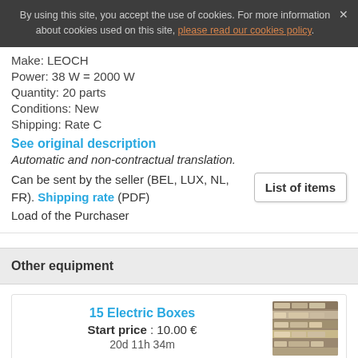By using this site, you accept the use of cookies. For more information about cookies used on this site, please read our cookies policy.
Make: LEOCH
Power: 38 W = 2000 W
Quantity: 20 parts
Conditions: New
Shipping: Rate C
See original description
Automatic and non-contractual translation.
Can be sent by the seller (BEL, LUX, NL, FR). Shipping rate (PDF)
Load of the Purchaser
Other equipment
15 Electric Boxes
Start price : 10.00 €
20d 11h 34m